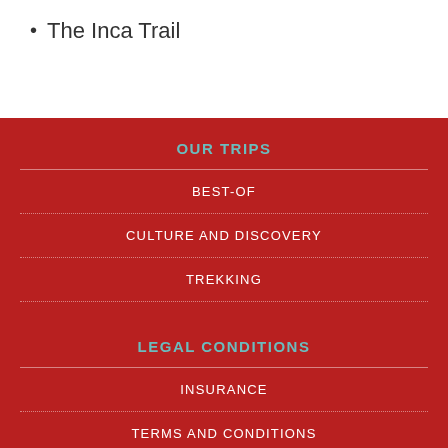The Inca Trail
OUR TRIPS
BEST-OF
CULTURE AND DISCOVERY
TREKKING
LEGAL CONDITIONS
INSURANCE
TERMS AND CONDITIONS
PRIVACY POLICY
LEGAL NOTICES AND TERMS OF USE